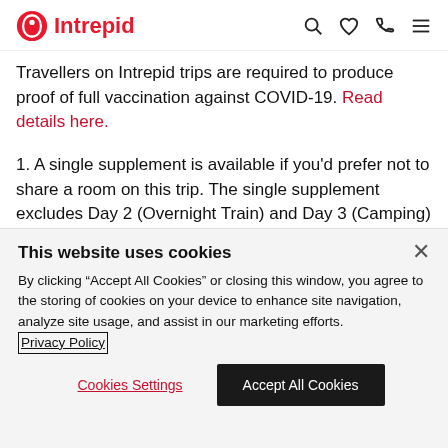Intrepid [logo header with search, heart, phone, menu icons]
Travellers on Intrepid trips are required to produce proof of full vaccination against COVID-19. Read details here.
1. A single supplement is available if you'd prefer not to share a room on this trip. The single supplement excludes Day 2 (Overnight Train) and Day 3 (Camping) where you will be in shared accommodation and is subject to availability. Please
This website uses cookies
By clicking "Accept All Cookies" or closing this window, you agree to the storing of cookies on your device to enhance site navigation, analyze site usage, and assist in our marketing efforts.  Privacy Policy
Cookies Settings  Accept All Cookies